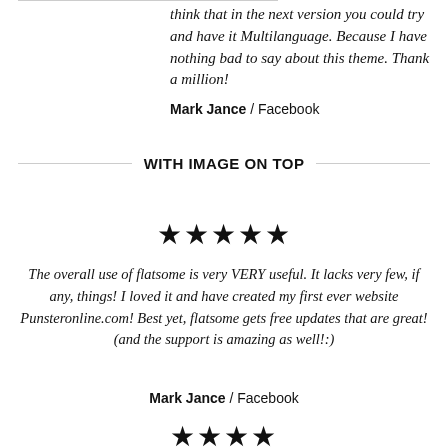think that in the next version you could try and have it Multilanguage. Because I have nothing bad to say about this theme. Thank a million!
Mark Jance / Facebook
WITH IMAGE ON TOP
[Figure (other): Five black star rating icons]
The overall use of flatsome is very VERY useful. It lacks very few, if any, things! I loved it and have created my first ever website Punsteronline.com! Best yet, flatsome gets free updates that are great! (and the support is amazing as well!:)
Mark Jance / Facebook
[Figure (other): Five black star rating icons (partially visible at bottom)]